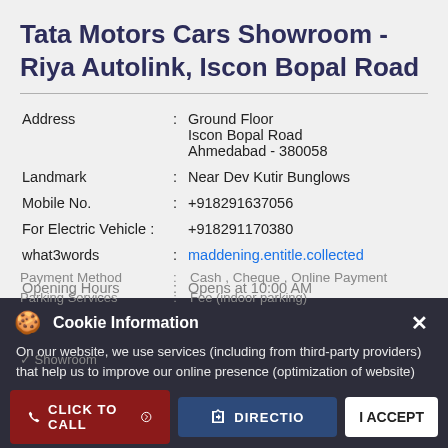Tata Motors Cars Showroom - Riya Autolink, Iscon Bopal Road
| Address | : | Ground Floor
Iscon Bopal Road
Ahmedabad - 380058 |
| Landmark | : | Near Dev Kutir Bunglows |
| Mobile No. | : | +918291637056 |
| For Electric Vehicle : |  | +918291170380 |
| what3words | : | maddening.entitle.collected |
Opening Hours : Opens at 10:00 AM
Payment Method : Cash , Cheque , Online Payment
Parking Services : Fee (indoor parking)
✓ Showroom
Cookie Information
On our website, we use services (including from third-party providers) that help us to improve our online presence (optimization of website) and to display content that is geared to their interests. We need your consent before being able to use these services.
CLICK TO CALL
DIRECTIONS
I ACCEPT